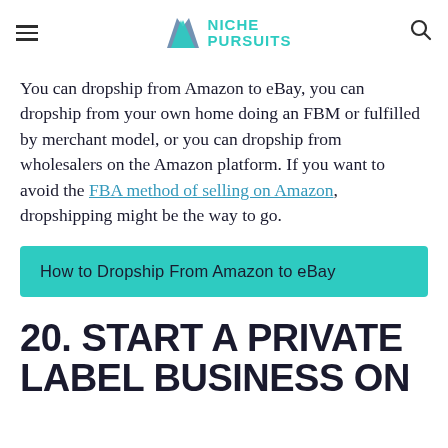Niche Pursuits
You can dropship from Amazon to eBay, you can dropship from your own home doing an FBM or fulfilled by merchant model, or you can dropship from wholesalers on the Amazon platform. If you want to avoid the FBA method of selling on Amazon, dropshipping might be the way to go.
How to Dropship From Amazon to eBay
20. START A PRIVATE LABEL BUSINESS ON